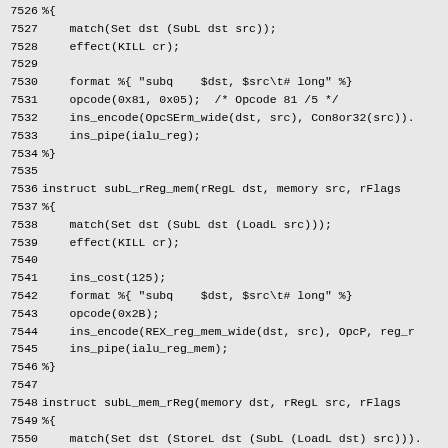Source code listing, lines 7526-7556, assembly instruction definitions in an instruction set description language.